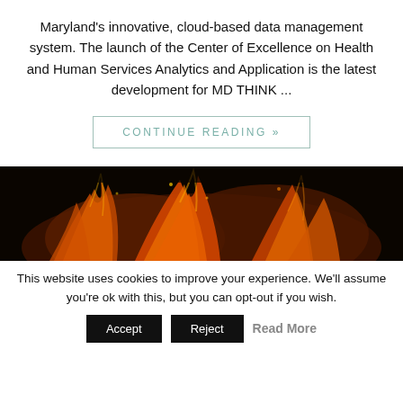Maryland's innovative, cloud-based data management system. The launch of the Center of Excellence on Health and Human Services Analytics and Application is the latest development for MD THINK ...
CONTINUE READING »
[Figure (photo): Dark close-up photograph of fire/flames with orange and black tones]
This website uses cookies to improve your experience. We'll assume you're ok with this, but you can opt-out if you wish.
Accept   Reject   Read More